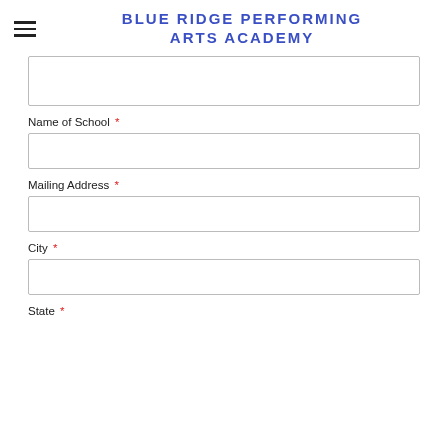BLUE RIDGE PERFORMING ARTS ACADEMY
(empty input box at top)
Name of School *
(empty input box)
Mailing Address *
(empty input box)
City *
(empty input box)
State *